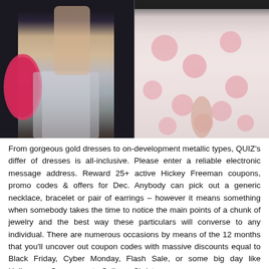[Figure (photo): Two fashion photos side by side: left shows a model wearing a silver metallic mini skirt and graphic top, carrying a pink handbag; right shows a model in a sheer white dress or skirt with pink floral rosette embellishments.]
From gorgeous gold dresses to on-development metallic types, QUIZ's differ of dresses is all-inclusive. Please enter a reliable electronic message address. Reward 25+ active Hickey Freeman coupons, promo codes & offers for Dec. Anybody can pick out a generic necklace, bracelet or pair of earrings – however it means something when somebody takes the time to notice the main points of a chunk of jewelry and the best way these particulars will converse to any individual. There are numerous occasions by means of the 12 months that you'll uncover out coupon codes with massive discounts equal to Black Friday, Cyber Monday, Flash Sale, or some big day like Halloween, Once more to College, Christmas.